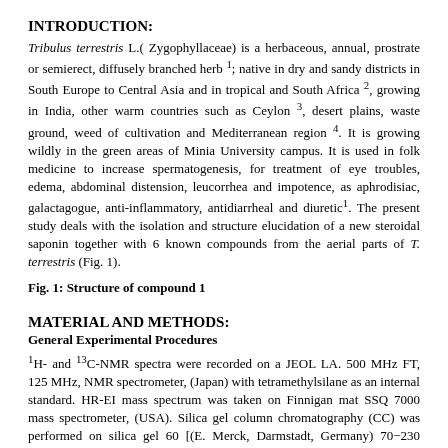INTRODUCTION:
Tribulus terrestris L.( Zygophyllaceae) is a herbaceous, annual, prostrate or semierect, diffusely branched herb 1; native in dry and sandy districts in South Europe to Central Asia and in tropical and South Africa 2, growing in India, other warm countries such as Ceylon 3, desert plains, waste ground, weed of cultivation and Mediterranean region 4. It is growing wildly in the green areas of Minia University campus. It is used in folk medicine to increase spermatogenesis, for treatment of eye troubles, edema, abdominal distension, leucorrhea and impotence, as aphrodisiac, galactagogue, anti-inflammatory, antidiarrheal and diuretic1. The present study deals with the isolation and structure elucidation of a new steroidal saponin together with 6 known compounds from the aerial parts of T. terrestris (Fig. 1).
Fig. 1: Structure of compound 1
MATERIAL AND METHODS:
General Experimental Procedures
1H- and 13C-NMR spectra were recorded on a JEOL LA. 500 MHz FT, 125 MHz, NMR spectrometer, (Japan) with tetramethylsilane as an internal standard. HR-EI mass spectrum was taken on Finnigan mat SSQ 7000 mass spectrometer, (USA). Silica gel column chromatography (CC) was performed on silica gel 60 [(E. Merck, Darmstadt, Germany) 70−230 mesh]. Precoated silica gel 60 F254 plates (E. Merck; 0.25 mm in thickness) were used for TLC analyses, visualized by spraying with a 10 % H2SO4 solution in ethanol and heating to around 150 °C on a hotplate.
Plant material: The aerial parts of T. terrestris were collected during the